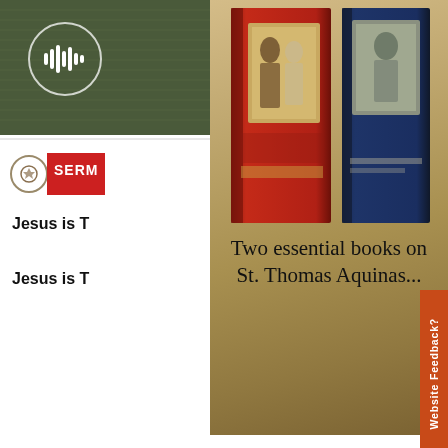[Figure (screenshot): Left panel showing partial website content: audio sermon card with waveform icon on dark green background, red SERM badge, bold text 'Jesus is T...' partially visible, FEBRUARY label, accessibility button, and a painting of a landscape at bottom]
[Figure (photo): Advertisement area showing two books on St. Thomas Aquinas - a red/brown hardcover and a dark blue hardcover, displayed against a tan/beige textured background]
Two essential books on St. Thomas Aquinas...
Buy One Get the Other Free!
GET THESE BOOKS
CLOSE
Website Feedback?